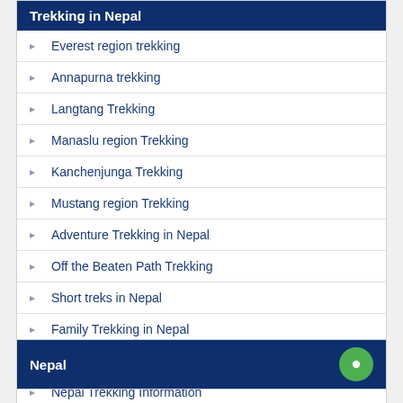Trekking in Nepal
Everest region trekking
Annapurna trekking
Langtang Trekking
Manaslu region Trekking
Kanchenjunga Trekking
Mustang region Trekking
Adventure Trekking in Nepal
Off the Beaten Path Trekking
Short treks in Nepal
Family Trekking in Nepal
Trekking in Nepal with kids
Nepal Trekking Information
Nepal